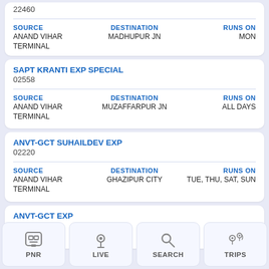22460
| SOURCE | DESTINATION | RUNS ON |
| --- | --- | --- |
| ANAND VIHAR TERMINAL | MADHUPUR JN | MON |
SAPT KRANTI EXP SPECIAL
02558
| SOURCE | DESTINATION | RUNS ON |
| --- | --- | --- |
| ANAND VIHAR TERMINAL | MUZAFFARPUR JN | ALL DAYS |
ANVT-GCT SUHAILDEV EXP
02220
| SOURCE | DESTINATION | RUNS ON |
| --- | --- | --- |
| ANAND VIHAR TERMINAL | GHAZIPUR CITY | TUE, THU, SAT, SUN |
ANVT-GCT EXP
0221...
PNR | LIVE | SEARCH | TRIPS